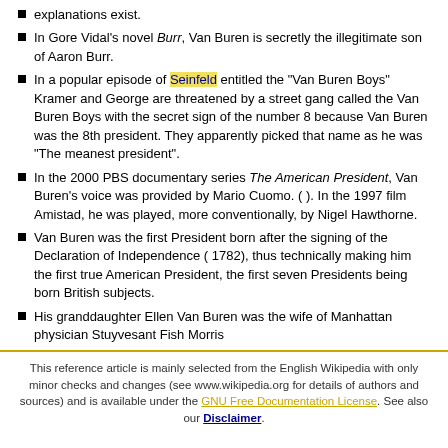explanations exist.
In Gore Vidal's novel Burr, Van Buren is secretly the illegitimate son of Aaron Burr.
In a popular episode of Seinfeld entitled the "Van Buren Boys" Kramer and George are threatened by a street gang called the Van Buren Boys with the secret sign of the number 8 because Van Buren was the 8th president. They apparently picked that name as he was "The meanest president".
In the 2000 PBS documentary series The American President, Van Buren's voice was provided by Mario Cuomo. ( ). In the 1997 film Amistad, he was played, more conventionally, by Nigel Hawthorne.
Van Buren was the first President born after the signing of the Declaration of Independence ( 1782), thus technically making him the first true American President, the first seven Presidents being born British subjects.
His granddaughter Ellen Van Buren was the wife of Manhattan physician Stuyvesant Fish Morris
This reference article is mainly selected from the English Wikipedia with only minor checks and changes (see www.wikipedia.org for details of authors and sources) and is available under the GNU Free Documentation License. See also our Disclaimer.